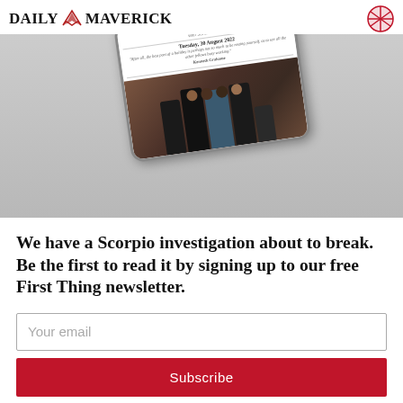[Figure (screenshot): Daily Maverick website header with logo and navigation icon, showing a phone mockup of the First Thing newsletter dated Tuesday, 30 August 2022 with a quote by Kenneth Grahame and a photo of several men in suits standing in what appears to be a courtroom or official setting.]
We have a Scorpio investigation about to break. Be the first to read it by signing up to our free First Thing newsletter.
Your email
Subscribe